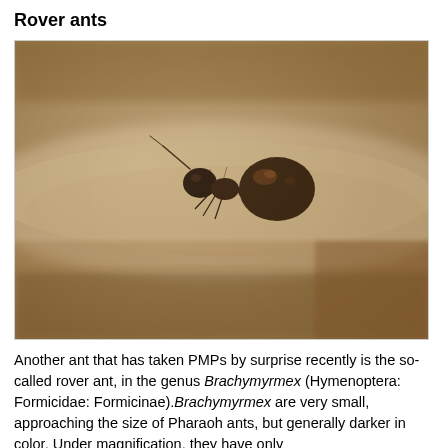Rover ants
[Figure (photo): Close-up macro photograph of a rover ant (Brachymyrmex) on a textured beige/tan fabric surface. The ant is small and dark brown, with a shiny gaster (abdomen), viewed from the side. The background shows the woven texture of the fabric in warm tan tones.]
Another ant that has taken PMPs by surprise recently is the so-called rover ant, in the genus Brachymyrmex (Hymenoptera: Formicidae: Formicinae). Brachymyrmex are very small, approaching the size of Pharaoh ants, but generally darker in color. Under magnification, they have only